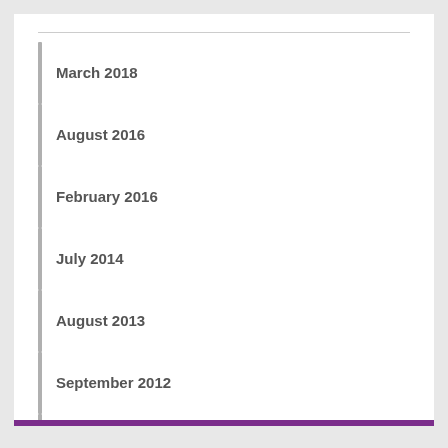March 2018
August 2016
February 2016
July 2014
August 2013
September 2012
September 2011